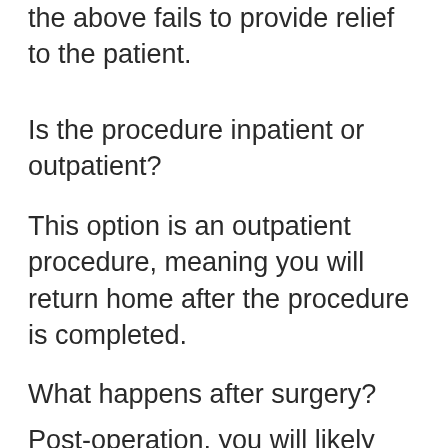the above fails to provide relief to the patient.
Is the procedure inpatient or outpatient?
This option is an outpatient procedure, meaning you will return home after the procedure is completed.
What happens after surgery?
Post-operation, you will likely need